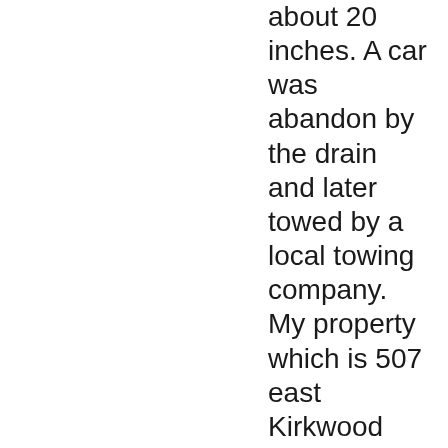about 20 inches. A car was abandon by the drain and later towed by a local towing company. My property which is 507 east Kirkwood Ave. sustained damage as well as the IU business lobby just east of the drain in the von lee building. This drain should